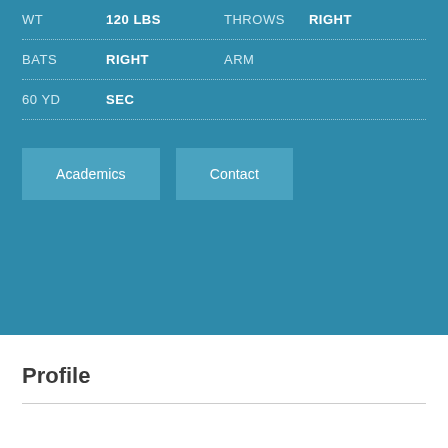WT 120 LBS | THROWS RIGHT
BATS RIGHT | ARM
60 YD SEC
Academics | Contact
Profile